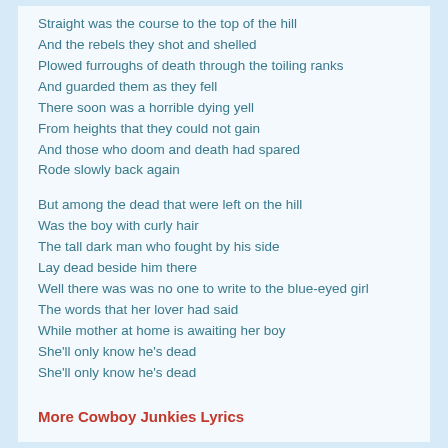Straight was the course to the top of the hill
And the rebels they shot and shelled
Plowed furroughs of death through the toiling ranks
And guarded them as they fell
There soon was a horrible dying yell
From heights that they could not gain
And those who doom and death had spared
Rode slowly back again
But among the dead that were left on the hill
Was the boy with curly hair
The tall dark man who fought by his side
Lay dead beside him there
Well there was was no one to write to the blue-eyed girl
The words that her lover had said
While mother at home is awaiting her boy
She'll only know he's dead
She'll only know he's dead
More Cowboy Junkies Lyrics